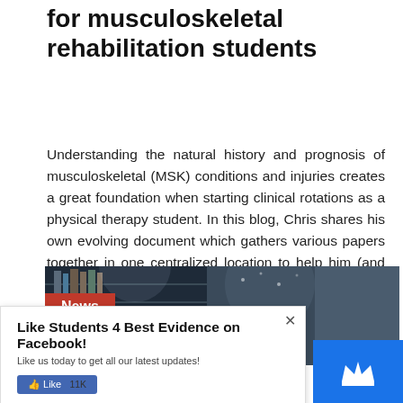for musculoskeletal rehabilitation students
Understanding the natural history and prognosis of musculoskeletal (MSK) conditions and injuries creates a great foundation when starting clinical rotations as a physical therapy student. In this blog, Chris shares his own evolving document which gathers various papers together in one centralized location to help him (and others) find the natural history and prognosis of most MSK conditions
[Figure (photo): News banner showing a library with shelves, overlaid with a red 'News' label on the left side]
Like Students 4 Best Evidence on Facebook!
Like us today to get all our latest updates!